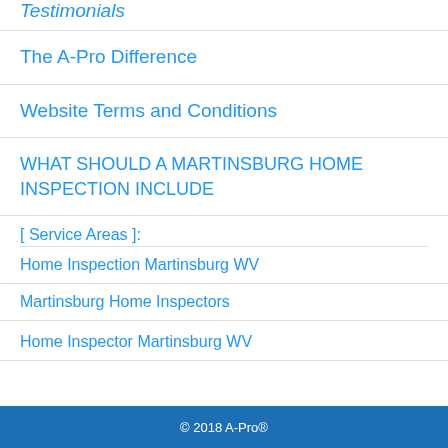Testimonials
The A-Pro Difference
Website Terms and Conditions
WHAT SHOULD A MARTINSBURG HOME INSPECTION INCLUDE
[ Service Areas ]:
Home Inspection Martinsburg WV
Martinsburg Home Inspectors
Home Inspector Martinsburg WV
© 2018 A-Pro®